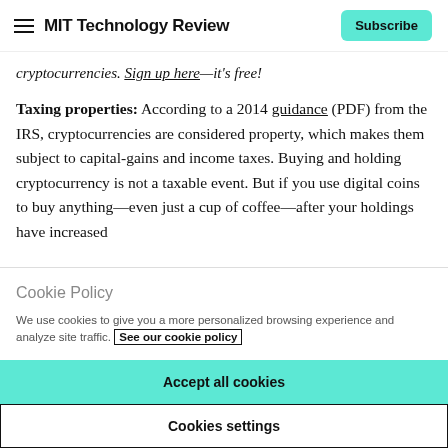MIT Technology Review | Subscribe
cryptocurrencies. Sign up here—it's free!
Taxing properties: According to a 2014 guidance (PDF) from the IRS, cryptocurrencies are considered property, which makes them subject to capital-gains and income taxes. Buying and holding cryptocurrency is not a taxable event. But if you use digital coins to buy anything—even just a cup of coffee—after your holdings have increased
Cookie Policy
We use cookies to give you a more personalized browsing experience and analyze site traffic. See our cookie policy
Accept all cookies
Cookies settings